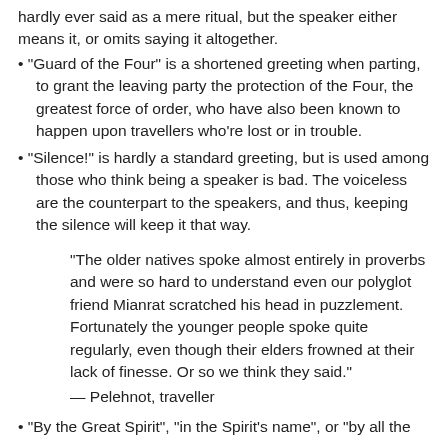hardly ever said as a mere ritual, but the speaker either means it, or omits saying it altogether.
"Guard of the Four" is a shortened greeting when parting, to grant the leaving party the protection of the Four, the greatest force of order, who have also been known to happen upon travellers who're lost or in trouble.
"Silence!" is hardly a standard greeting, but is used among those who think being a speaker is bad. The voiceless are the counterpart to the speakers, and thus, keeping the silence will keep it that way.
"The older natives spoke almost entirely in proverbs and were so hard to understand even our polyglot friend Mianrat scratched his head in puzzlement. Fortunately the younger people spoke quite regularly, even though their elders frowned at their lack of finesse. Or so we think they said."
— Pelehnot, traveller
"By the Great Spirit", "in the Spirit's name", or "by all the